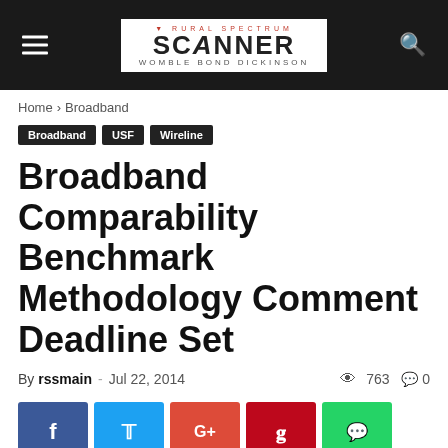[Figure (logo): Rural Spectrum Scanner — Womble Bond Dickinson logo in a dark navigation header bar with hamburger menu icon on the left and search icon on the right]
Home › Broadband
Broadband
USF
Wireline
Broadband Comparability Benchmark Methodology Comment Deadline Set
By rssmain - Jul 22, 2014  763  0
[Figure (other): Social share buttons: Facebook (blue), Twitter (light blue), Google+ (red-orange), Pinterest (dark red), WhatsApp (green)]
Earlier this month, the Federal Communications Commission's (FCC or Commission) Wireline Competition Bureau released a Public Notice seeking comment regarding a specific methodology for calculating the r